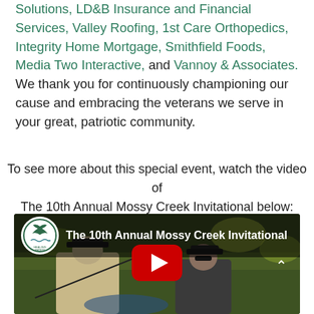Solutions, LD&B Insurance and Financial Services, Valley Roofing, 1st Care Orthopedics, Integrity Home Mortgage, Smithfield Foods, Media Two Interactive, and Vannoy & Associates.  We thank you for continuously championing our cause and embracing the veterans we serve in your great, patriotic community.
To see more about this special event, watch the video of The 10th Annual Mossy Creek Invitational below:
[Figure (screenshot): YouTube video thumbnail for 'The 10th Annual Mossy Creek Invitational' showing two men fishing, with Healing Waters Fly Fishing logo and a YouTube play button in the center.]